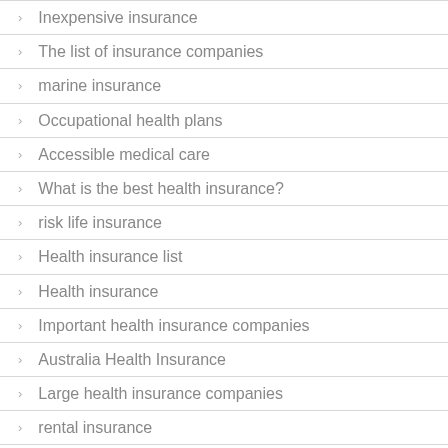Inexpensive insurance
The list of insurance companies
marine insurance
Occupational health plans
Accessible medical care
What is the best health insurance?
risk life insurance
Health insurance list
Health insurance
Important health insurance companies
Australia Health Insurance
Large health insurance companies
rental insurance
Health insurance companies
tooth insurance